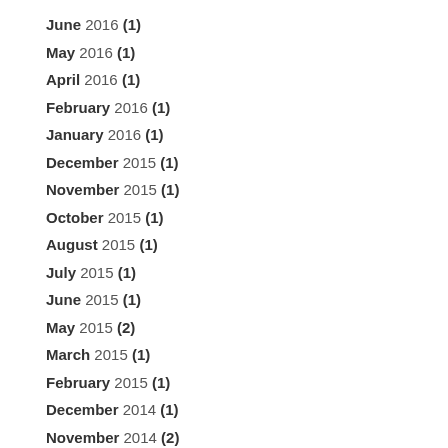June 2016 (1)
May 2016 (1)
April 2016 (1)
February 2016 (1)
January 2016 (1)
December 2015 (1)
November 2015 (1)
October 2015 (1)
August 2015 (1)
July 2015 (1)
June 2015 (1)
May 2015 (2)
March 2015 (1)
February 2015 (1)
December 2014 (1)
November 2014 (2)